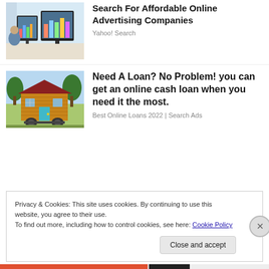[Figure (photo): Person working at multiple computer monitors showing data/charts on screens]
Search For Affordable Online Advertising Companies
Yahoo! Search
[Figure (photo): Tiny wooden house on wheels parked in a grassy area]
Need A Loan? No Problem! you can get an online cash loan when you need it the most.
Best Online Loans 2022 | Search Ads
Privacy & Cookies: This site uses cookies. By continuing to use this website, you agree to their use.
To find out more, including how to control cookies, see here: Cookie Policy
Close and accept